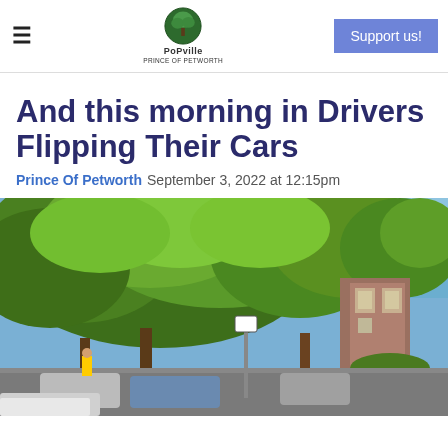PoPville - Prince of Petworth | Support us!
And this morning in Drivers Flipping Their Cars
Prince Of Petworth   September 3, 2022 at 12:15pm
[Figure (photo): Street scene with large green leafy trees in summer, cars parked along residential street, brick buildings visible on right, blue sky, a street sign visible in center, workers visible in background wearing high-vis vests.]